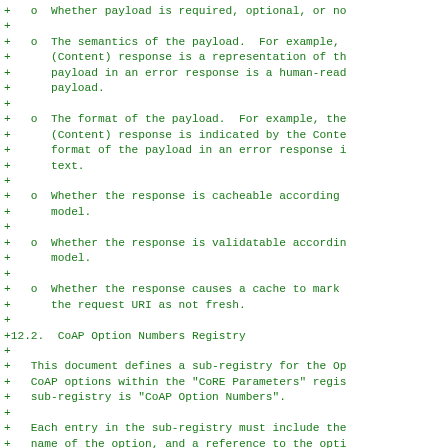+   o  Whether payload is required, optional, or no
+
+   o  The semantics of the payload.  For example,
+      (Content) response is a representation of th
+      payload in an error response is a human-read
+      payload.
+
+   o  The format of the payload.  For example, the
+      (Content) response is indicated by the Conte
+      format of the payload in an error response i
+      text.
+
+   o  Whether the response is cacheable according
+      model.
+
+   o  Whether the response is validatable accordin
+      model.
+
+   o  Whether the response causes a cache to mark
+      the request URI as not fresh.
+
+12.2.  CoAP Option Numbers Registry
+
+   This document defines a sub-registry for the Op
+   CoAP options within the "CoRE Parameters" regis
+   sub-registry is "CoAP Option Numbers".
+
+   Each entry in the sub-registry must include the
+   name of the option, and a reference to the opti
+